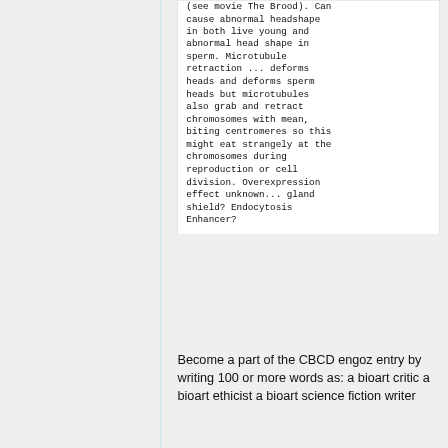(see movie The Brood). Can cause abnormal headshape in both live young and abnormal head shape in sperm. Microtubule retraction ... deforms heads and deforms sperm heads but microtubules also grab and retract chromosomes with mean, biting centromeres so this might eat strangely at the chromosomes during reproduction or cell division. Overexpression effect unknown... gland shield? Endocytosis Enhancer?
Become a part of the CBCD engoz entry by writing 100 or more words as: a bioart critic a bioart ethicist a bioart science fiction writer